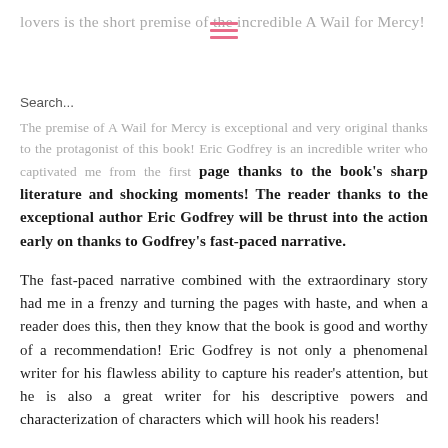lovers is the short premise of the incredible A Wail for Mercy!
The premise of A Wail for Mercy is exceptional and very original thanks to the protagonist of this book! Eric Godfrey is an incredible writer who captivated me from the first page thanks to the book's sharp literature and shocking moments! The reader thanks to the exceptional author Eric Godfrey will be thrust into the action early on thanks to Godfrey's fast-paced narrative.
The fast-paced narrative combined with the extraordinary story had me in a frenzy and turning the pages with haste, and when a reader does this, then they know that the book is good and worthy of a recommendation! Eric Godfrey is not only a phenomenal writer for his flawless ability to capture his reader's attention, but he is also a great writer for his descriptive powers and characterization of characters which will hook his readers!